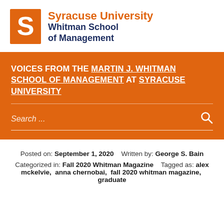[Figure (logo): Syracuse University Whitman School of Management logo with orange S and text]
VOICES FROM THE MARTIN J. WHITMAN SCHOOL OF MANAGEMENT AT SYRACUSE UNIVERSITY
Search ...
Posted on: September 1, 2020   Written by: George S. Bain
Categorized in: Fall 2020 Whitman Magazine   Tagged as: alex mckelvie,  anna chernobai,  fall 2020 whitman magazine,  graduate